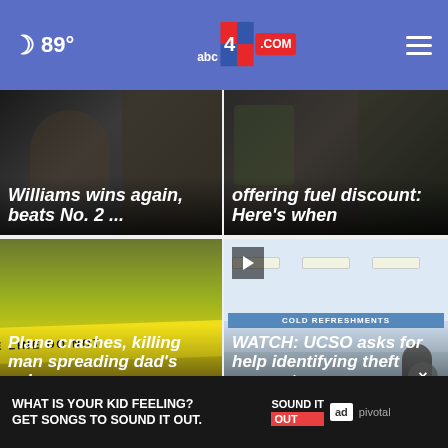89° abc4.com
[Figure (photo): Cropped news card - Williams wins again, beats No. 2 ...]
Williams wins again, beats No. 2 ...
[Figure (photo): News card - offering fuel discount: Here's when]
offering fuel discount: Here's when
[Figure (photo): Crime scene tape - Plane crashes, killing man spreading dad's ashes]
Plane crashes, killing man spreading dad's ashes
[Figure (photo): Store interior - WATCH: UCSO asks for help identifying theft suspects]
WATCH: UCSO asks for help identifying theft suspects
[Figure (other): Advertisement banner: WHAT IS YOUR KID FEELING? GET SONGS TO SOUND IT OUT. Sound It Out / Ad Council / Pivotal]